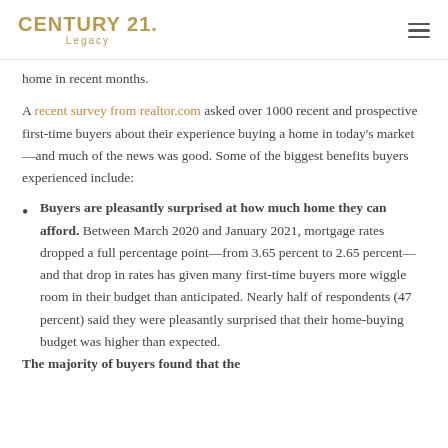CENTURY 21. Legacy
home in recent months.
A recent survey from realtor.com asked over 1000 recent and prospective first-time buyers about their experience buying a home in today's market—and much of the news was good. Some of the biggest benefits buyers experienced include:
Buyers are pleasantly surprised at how much home they can afford. Between March 2020 and January 2021, mortgage rates dropped a full percentage point—from 3.65 percent to 2.65 percent—and that drop in rates has given many first-time buyers more wiggle room in their budget than anticipated. Nearly half of respondents (47 percent) said they were pleasantly surprised that their home-buying budget was higher than expected.
The majority of buyers found that the